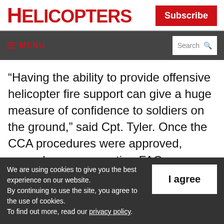HELICOPTERS
Subscribe
≡ MENU  Search 🔍
“Having the ability to provide offensive helicopter fire support can give a huge measure of confidence to soldiers on the ground,” said Cpt. Tyler. Once the CCA procedures were approved, crews began supporting FAC courses and land force
We are using cookies to give you the best experience on our website.
By continuing to use the site, you agree to the use of cookies.
To find out more, read our privacy policy.
I agree